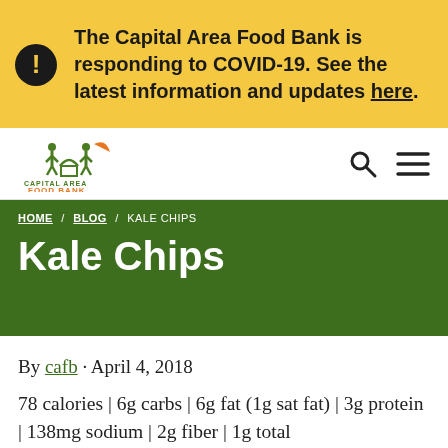The Capital Area Food Bank is responding to COVID-19. See the latest information and updates here.
[Figure (logo): Capital Area Food Bank logo with green figures and orange element above text reading CAPITAL AREA FOOD BANK]
HOME / BLOG / KALE CHIPS
Kale Chips
By cafb · April 4, 2018
78 calories | 6g carbs | 6g fat (1g sat fat) | 3g protein | 138mg sodium | 2g fiber | 1g total sugars (1g added sugars) · servings: